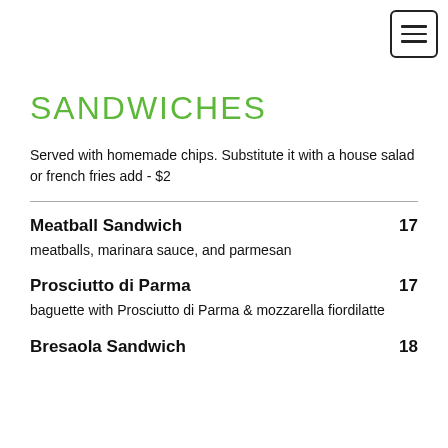[Figure (other): Hamburger menu icon button in top-right corner]
SANDWICHES
Served with homemade chips. Substitute it with a house salad or french fries add - $2
Meatball Sandwich  17
meatballs, marinara sauce, and parmesan
Prosciutto di Parma  17
baguette with Prosciutto di Parma & mozzarella fiordilatte
Bresaola Sandwich  18